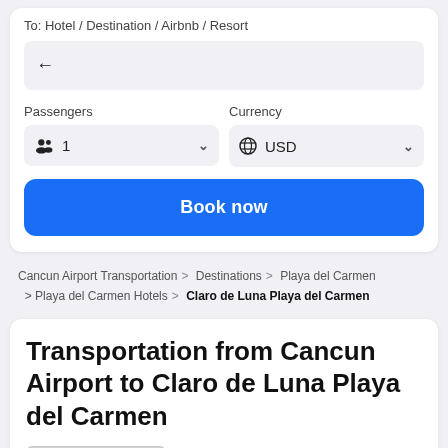To: Hotel / Destination / Airbnb / Resort
←
Passengers
Currency
👥 1
🌐 USD
Book now
Cancun Airport Transportation > Destinations > Playa del Carmen > Playa del Carmen Hotels > Claro de Luna Playa del Carmen
Transportation from Cancun Airport to Claro de Luna Playa del Carmen
Private